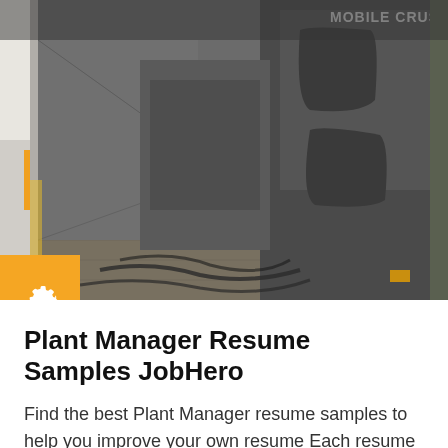[Figure (photo): Industrial photo showing mobile crushing system heavy machinery inside a large cargo or industrial space with chains on the floor and equipment labeled 'MOBILE CRUSHING S...' with an orange gear settings badge overlay on the left side.]
Plant Manager Resume Samples JobHero
Find the best Plant Manager resume samples to help you improve your own resume Each resume is hand picked from our large database of real resumes …